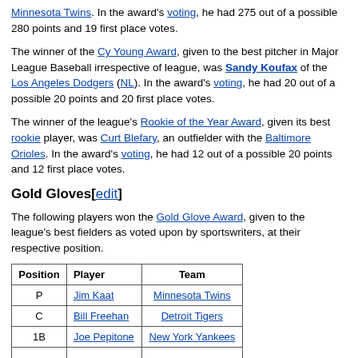Minnesota Twins. In the award's voting, he had 275 out of a possible 280 points and 19 first place votes.
The winner of the Cy Young Award, given to the best pitcher in Major League Baseball irrespective of league, was Sandy Koufax of the Los Angeles Dodgers (NL). In the award's voting, he had 20 out of a possible 20 points and 20 first place votes.
The winner of the league's Rookie of the Year Award, given its best rookie player, was Curt Blefary, an outfielder with the Baltimore Orioles. In the award's voting, he had 12 out of a possible 20 points and 12 first place votes.
Gold Gloves[edit]
The following players won the Gold Glove Award, given to the league's best fielders as voted upon by sportswriters, at their respective position.
| Position | Player | Team |
| --- | --- | --- |
| P | Jim Kaat | Minnesota Twins |
| C | Bill Freehan | Detroit Tigers |
| 1B | Joe Pepitone | New York Yankees |